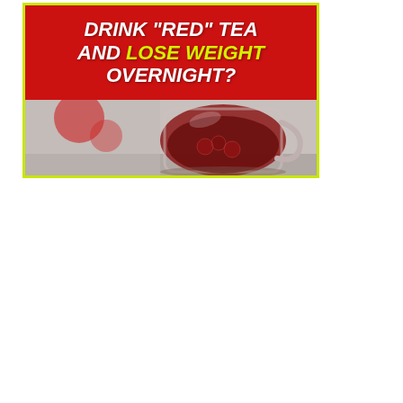[Figure (infographic): Advertising banner with red background at top showing white italic bold text 'DRINK RED TEA AND LOSE WEIGHT OVERNIGHT?' with 'LOSE WEIGHT' in yellow-green, below is a photo of a glass mug of dark red tea with raspberries, and a blue button overlay reading '>> FIND OUT THE TRUTH HERE!' with a yellow-green border around the entire ad.]